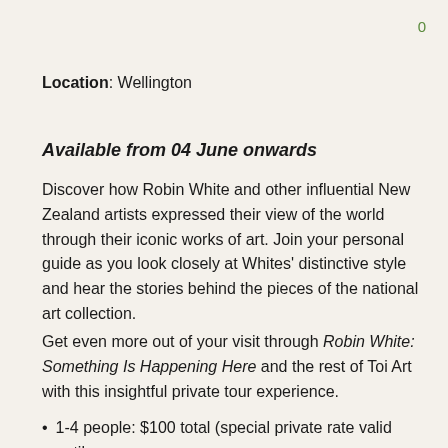0
Location: Wellington
Available from 04 June onwards
Discover how Robin White and other influential New Zealand artists expressed their view of the world through their iconic works of art. Join your personal guide as you look closely at Whites' distinctive style and hear the stories behind the pieces of the national art collection.
Get even more out of your visit through Robin White: Something Is Happening Here and the rest of Toi Art with this insightful private tour experience.
1-4 people: $100 total (special private rate valid until